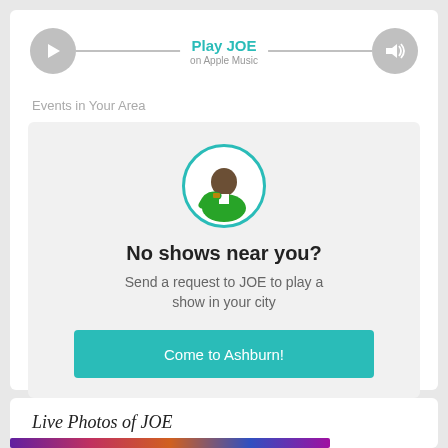[Figure (infographic): Music player bar with play button, 'Play JOE on Apple Music' text, and volume button, all in gray/teal]
Events in Your Area
[Figure (infographic): Event card with teal-bordered circular avatar of JOE (man in green blazer), 'No shows near you?' heading, 'Send a request to JOE to play a show in your city' subtext, and teal 'Come to Ashburn!' button]
Live Photos of JOE
[Figure (photo): Colorful photo strip at bottom, partial view of live concert photo]